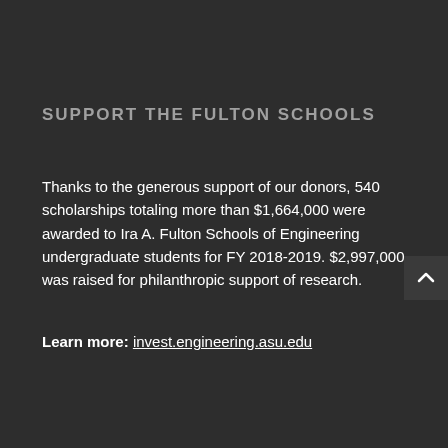SUPPORT THE FULTON SCHOOLS
Thanks to the generous support of our donors, 540 scholarships totaling more than $1,664,000 were awarded to Ira A. Fulton Schools of Engineering undergraduate students for FY 2018-2019. $2,997,000 was raised for philanthropic support of research.
Learn more: invest.engineering.asu.edu